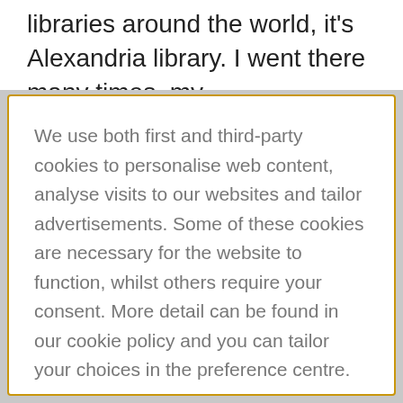libraries around the world, it's Alexandria library. I went there many times, my
We use both first and third-party cookies to personalise web content, analyse visits to our websites and tailor advertisements. Some of these cookies are necessary for the website to function, whilst others require your consent. More detail can be found in our cookie policy and you can tailor your choices in the preference centre.
Accept All Cookies
Cookies Settings